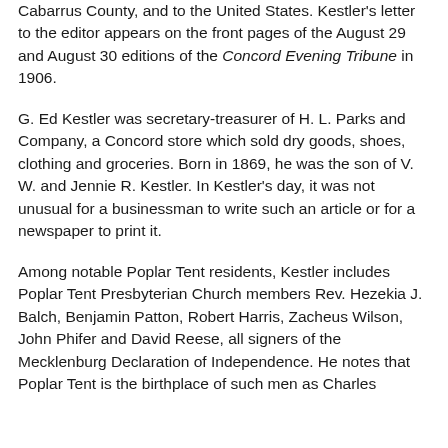Cabarrus County, and to the United States. Kestler's letter to the editor appears on the front pages of the August 29 and August 30 editions of the Concord Evening Tribune in 1906.
G. Ed Kestler was secretary-treasurer of H. L. Parks and Company, a Concord store which sold dry goods, shoes, clothing and groceries. Born in 1869, he was the son of V. W. and Jennie R. Kestler. In Kestler's day, it was not unusual for a businessman to write such an article or for a newspaper to print it.
Among notable Poplar Tent residents, Kestler includes Poplar Tent Presbyterian Church members Rev. Hezekia J. Balch, Benjamin Patton, Robert Harris, Zacheus Wilson, John Phifer and David Reese, all signers of the Mecklenburg Declaration of Independence. He notes that Poplar Tent is the birthplace of such men as Charles